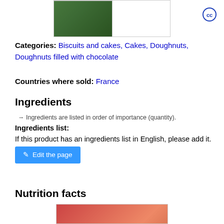[Figure (photo): Product photo showing green doughnuts or biscuits from above]
[Figure (logo): Creative Commons CC license icon circle]
Categories: Biscuits and cakes, Cakes, Doughnuts, Doughnuts filled with chocolate
Countries where sold: France
Ingredients
→ Ingredients are listed in order of importance (quantity).
Ingredients list:
If this product has an ingredients list in English, please add it.
[Figure (other): Edit the page button (blue button with pencil icon)]
Nutrition facts
[Figure (photo): Product nutrition label photo partially visible at bottom]